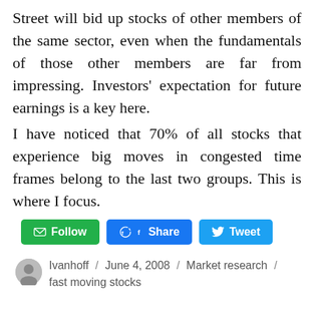Street will bid up stocks of other members of the same sector, even when the fundamentals of those other members are far from impressing. Investors' expectation for future earnings is a key here.
I have noticed that 70% of all stocks that experience big moves in congested time frames belong to the last two groups. This is where I focus.
[Figure (other): Social sharing buttons: green Follow button with email icon, blue Facebook Share button, blue Twitter Tweet button]
Ivanhoff / June 4, 2008 / Market research / fast moving stocks